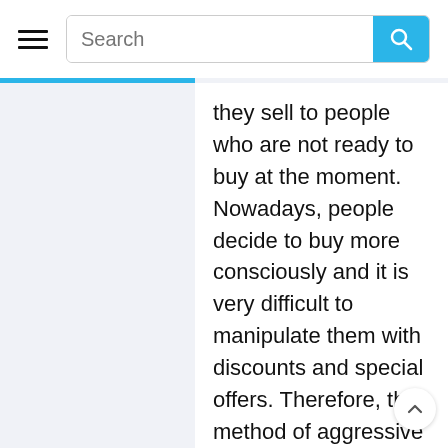Search
they sell to people who are not ready to buy at the moment. Nowadays, people decide to buy more consciously and it is very difficult to manipulate them with discounts and special offers. Therefore, the method of aggressive sales is very expensive and ineffective.
Communication with Customers as a Way to Build Sales on Instagram